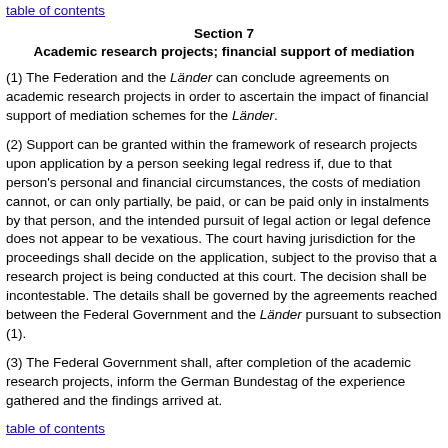table of contents
Section 7
Academic research projects; financial support of mediation
(1) The Federation and the Länder can conclude agreements on academic research projects in order to ascertain the impact of financial support of mediation schemes for the Länder.
(2) Support can be granted within the framework of research projects upon application by a person seeking legal redress if, due to that person's personal and financial circumstances, the costs of mediation cannot, or can only partially, be paid, or can be paid only in instalments by that person, and the intended pursuit of legal action or legal defence does not appear to be vexatious. The court having jurisdiction for the proceedings shall decide on the application, subject to the proviso that a research project is being conducted at this court. The decision shall be incontestable. The details shall be governed by the agreements reached between the Federal Government and the Länder pursuant to subsection (1).
(3) The Federal Government shall, after completion of the academic research projects, inform the German Bundestag of the experience gathered and the findings arrived at.
table of contents
Section 8